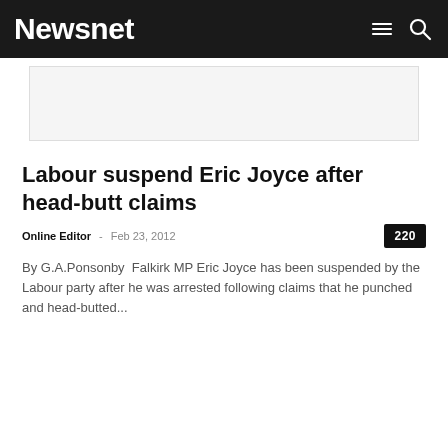Newsnet
[Figure (other): Advertisement placeholder banner]
Labour suspend Eric Joyce after head-butt claims
Online Editor  –  Feb 23, 2012  220
By G.A.Ponsonby  Falkirk MP Eric Joyce has been suspended by the Labour party after he was arrested following claims that he punched and head-butted...